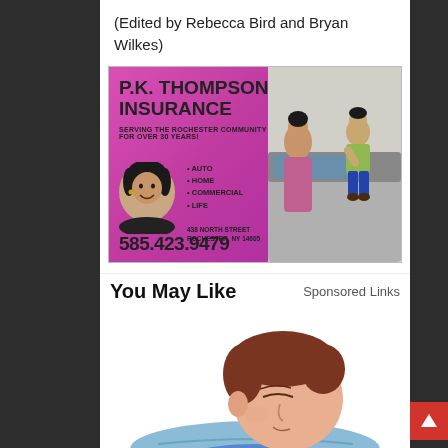(Edited by Rebecca Bird and Bryan Wilkes)
[Figure (illustration): P.K. Thompson Insurance advertisement. Pink/magenta background on left side. Large bold text reads 'P.K. THOMPSON INSURANCE'. Subtext: 'SERVING THE ROCHESTER COMMUNITY FOR OVER 30 YEARS!'. Services listed: AUTO, HOME, COMMERCIAL, LIFE. Address: 438 NORTH STREET, ROCHESTER, NY 14605. Phone: 585.423.9479. Left side has a headshot photo of a woman smiling. Right side shows a photo of a woman and child near a car.]
You May Like
Sponsored Links
[Figure (illustration): Cartoon illustration of a man sleeping on a blue pillow with a drool stain, viewed from side angle. Man has brown hair and is wearing a blue shirt.]